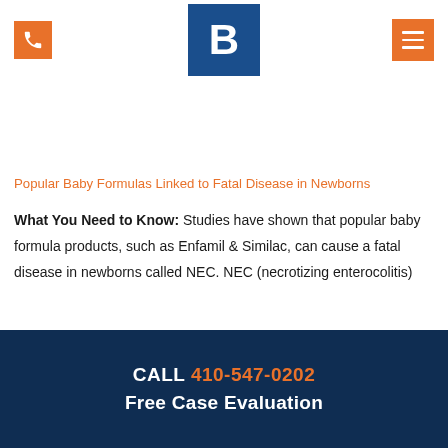Phone icon | B logo | Menu icon
Popular Baby Formulas Linked to Fatal Disease in Newborns
What You Need to Know: Studies have shown that popular baby formula products, such as Enfamil & Similac, can cause a fatal disease in newborns called NEC. NEC (necrotizing enterocolitis)
CALL 410-547-0202
Free Case Evaluation